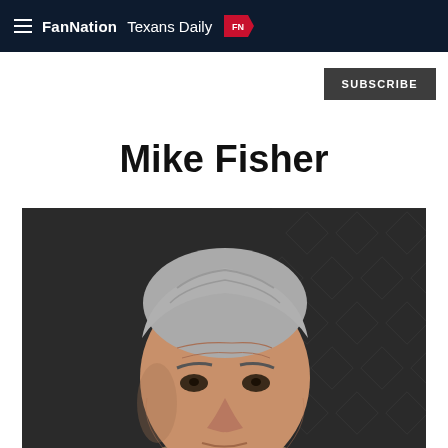FanNation  Texans Daily
SUBSCRIBE
Mike Fisher
[Figure (photo): Headshot portrait of Mike Fisher, a middle-aged man with silver-gray hair, wearing a tan/beige blazer and light blue shirt, photographed against a dark geometric/diamond-pattern background.]